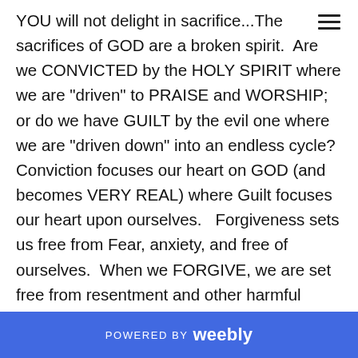YOU will not delight in sacrifice...The sacrifices of GOD are a broken spirit.  Are we CONVICTED by the HOLY SPIRIT where we are "driven" to PRAISE and WORSHIP; or do we have GUILT by the evil one where we are "driven down" into an endless cycle?  Conviction focuses our heart on GOD (and becomes VERY REAL) where Guilt focuses our heart upon ourselves.   Forgiveness sets us free from Fear, anxiety, and free of ourselves.  When we FORGIVE, we are set free from resentment and other harmful thoughts and emotions running rampant in our mind, body and SPIRIT.  We should ask ourselves, are we driven by CONVICTION or GUILT in seeking
POWERED BY weebly